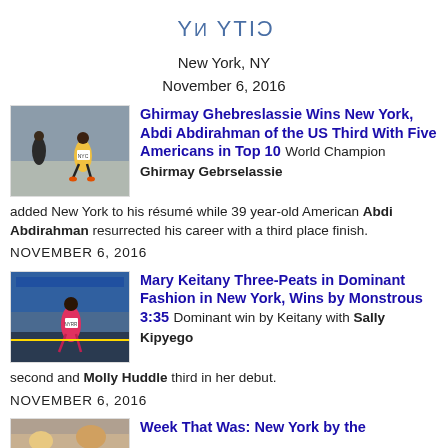[Figure (logo): Mirrored/upside-down handwritten text reading CITY NY in blue]
New York, NY
November 6, 2016
[Figure (photo): Marathon runners racing on a city street]
Ghirmay Ghebreslassie Wins New York, Abdi Abdirahman of the US Third With Five Americans in Top 10
World Champion Ghirmay Gebrselassie added New York to his résumé while 39 year-old American Abdi Abdirahman resurrected his career with a third place finish.
NOVEMBER 6, 2016
[Figure (photo): Female marathon runner crossing the finish line]
Mary Keitany Three-Peats in Dominant Fashion in New York, Wins by Monstrous 3:35
Dominant win by Keitany with Sally Kipyego second and Molly Huddle third in her debut.
NOVEMBER 6, 2016
[Figure (photo): Partial view of another article thumbnail]
Week That Was: New York by the